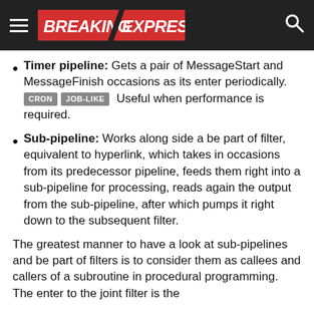BREAKING EXPRESS
Timer pipeline: Gets a pair of MessageStart and MessageFinish occasions as its enter periodically. CRON JOB-LIKE Useful when performance is required.
Sub-pipeline: Works along side a be part of filter, equivalent to hyperlink, which takes in occasions from its predecessor pipeline, feeds them right into a sub-pipeline for processing, reads again the output from the sub-pipeline, after which pumps it right down to the subsequent filter.
The greatest manner to have a look at sub-pipelines and be part of filters is to consider them as callees and callers of a subroutine in procedural programming. The enter to the joint filter is the